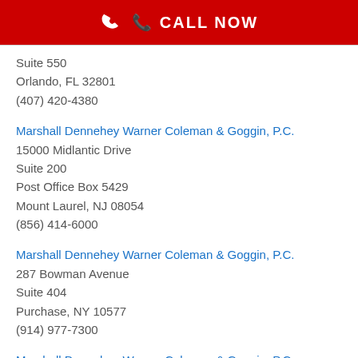[Figure (other): Red call-to-action button with phone icon and text CALL NOW]
Suite 550
Orlando, FL 32801
(407) 420-4380
Marshall Dennehey Warner Coleman & Goggin, P.C.
15000 Midlantic Drive
Suite 200
Post Office Box 5429
Mount Laurel, NJ 08054
(856) 414-6000
Marshall Dennehey Warner Coleman & Goggin, P.C.
287 Bowman Avenue
Suite 404
Purchase, NY 10577
(914) 977-7300
Marshall Dennehey Warner Coleman & Goggin, P.C.
105 Maxess Road
Suite 303
Melville, NY 11747